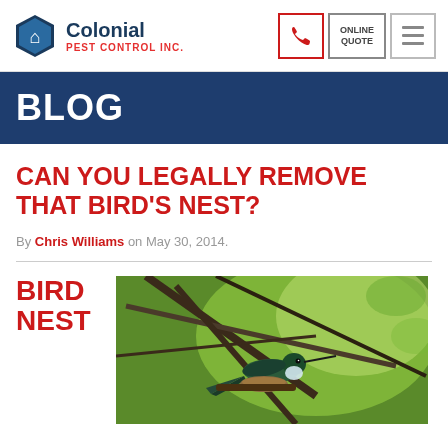Colonial Pest Control Inc.
BLOG
CAN YOU LEGALLY REMOVE THAT BIRD'S NEST?
By Chris Williams on May 30, 2014.
BIRD NEST
[Figure (photo): Close-up photograph of a hummingbird perched on a branch surrounded by green foliage and twigs]